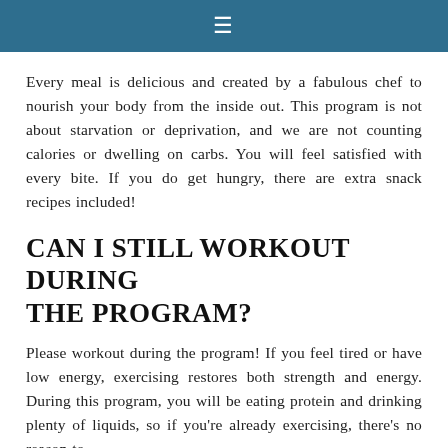≡
Every meal is delicious and created by a fabulous chef to nourish your body from the inside out. This program is not about starvation or deprivation, and we are not counting calories or dwelling on carbs. You will feel satisfied with every bite. If you do get hungry, there are extra snack recipes included!
CAN I STILL WORKOUT DURING THE PROGRAM?
Please workout during the program! If you feel tired or have low energy, exercising restores both strength and energy. During this program, you will be eating protein and drinking plenty of liquids, so if you're already exercising, there's no reason to